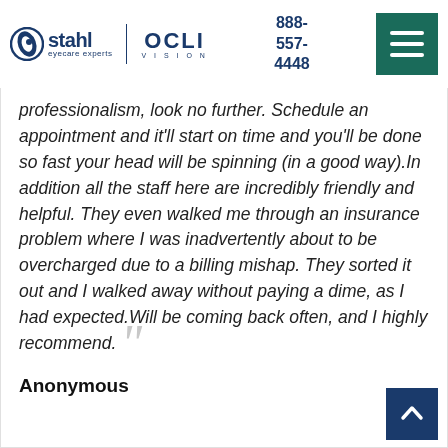Stahl Eyecare Experts | OCLI Vision | 888-557-4448
organized and thoroughly well in ... value ... efficiency and professionalism, look no further. Schedule an appointment and it'll start on time and you'll be done so fast your head will be spinning (in a good way).In addition all the staff here are incredibly friendly and helpful. They even walked me through an insurance problem where I was inadvertently about to be overcharged due to a billing mishap. They sorted it out and I walked away without paying a dime, as I had expected.Will be coming back often, and I highly recommend.
Anonymous